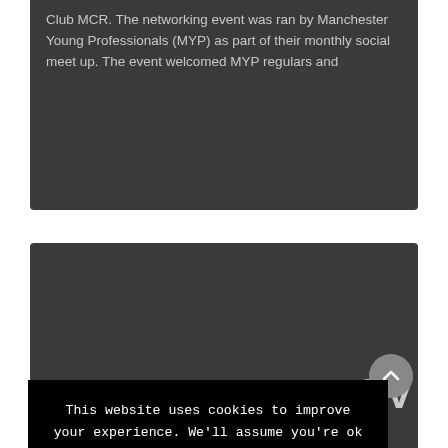Club MCR. The networking event was ran by Manchester Young Professionals (MYP) as part of their monthly social meet up. The event welcomed MYP regulars and
our CV
[Figure (screenshot): Cookie consent banner overlay on a dark-themed website. Banner text: 'This website uses cookies to improve your experience. We'll assume you're ok with this, but you can opt-out if you wish.' with 'Cookie settings' (green) and 'ACCEPT' (white bold) buttons. Behind the banner, partially visible text reads 'our CV' and body text about updating a CV.]
ated and y into a bit of nd yourself th. When iew job, you need to come more or depend on with honesty. You